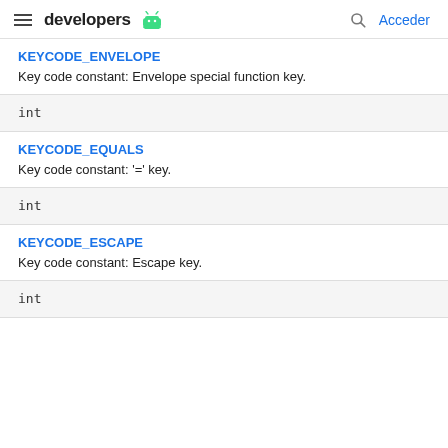developers
KEYCODE_ENVELOPE
Key code constant: Envelope special function key.
int
KEYCODE_EQUALS
Key code constant: '=' key.
int
KEYCODE_ESCAPE
Key code constant: Escape key.
int